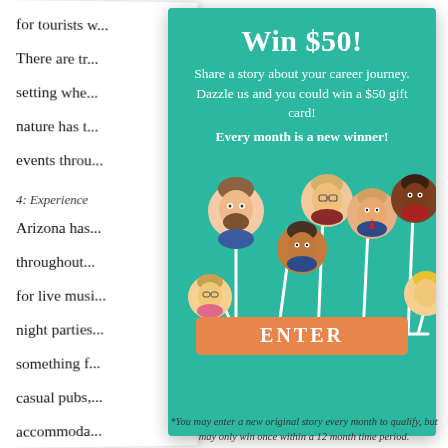for tourists w...
There are tr...
setting whe...
nature has t...
events throu...
4: Experience
Arizona has...
throughout...
for live musi...
night parties...
something f...
casual pubs,...
accommoda...
as well as th...
[Figure (infographic): Teal popup card with title 'Win $50!', subtitle about sharing career story, illustration of people icons on stems, and orange ENTER button]
*You may enter a new original story every month to qualify, but may only win once within a 12 month time period.